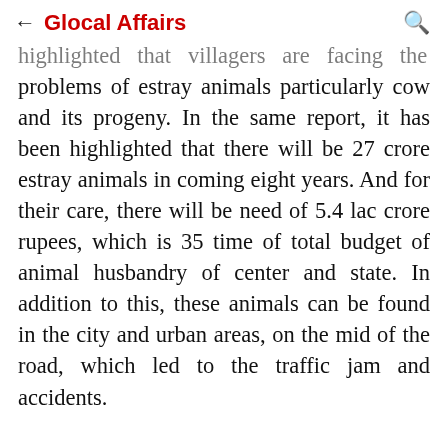← Glocal Affairs
highlighted that villagers are facing the problems of estray animals particularly cow and its progeny. In the same report, it has been highlighted that there will be 27 crore estray animals in coming eight years. And for their care, there will be need of 5.4 lac crore rupees, which is 35 time of total budget of animal husbandry of center and state. In addition to this, these animals can be found in the city and urban areas, on the mid of the road, which led to the traffic jam and accidents.